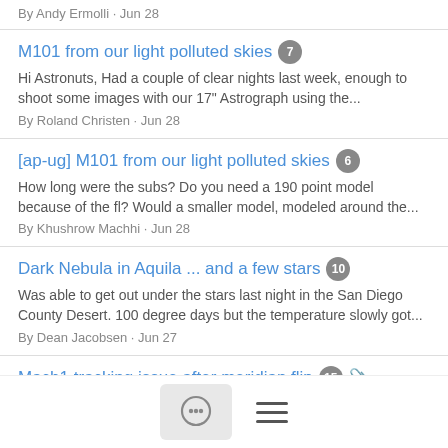By Andy Ermolli · Jun 28
M101 from our light polluted skies 7
Hi Astronuts, Had a couple of clear nights last week, enough to shoot some images with our 17" Astrograph using the...
By Roland Christen · Jun 28
[ap-ug] M101 from our light polluted skies 6
How long were the subs? Do you need a 190 point model because of the fl? Would a smaller model, modeled around the...
By Khushrow Machhi · Jun 28
Dark Nebula in Aquila ... and a few stars 10
Was able to get out under the stars last night in the San Diego County Desert. 100 degree days but the temperature slowly got...
By Dean Jacobsen · Jun 27
Mach1 tracking issue after meridian flip 15
#ASCOM_V2_Driver
#APCC
Hello, I experienced a strange problem during the last session